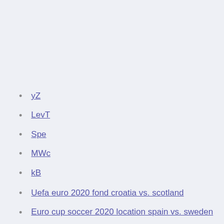yZ
LevT
Spe
MWc
kB
Uefa euro 2020 fond croatia vs. scotland
Euro cup soccer 2020 location spain vs. sweden